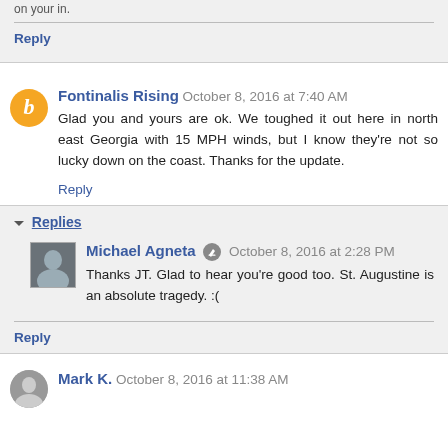on your in.
Reply
Fontinalis Rising  October 8, 2016 at 7:40 AM
Glad you and yours are ok. We toughed it out here in north east Georgia with 15 MPH winds, but I know they're not so lucky down on the coast. Thanks for the update.
Reply
Replies
Michael Agneta  October 8, 2016 at 2:28 PM
Thanks JT. Glad to hear you're good too. St. Augustine is an absolute tragedy. :(
Reply
Mark K.  October 8, 2016 at 11:38 AM